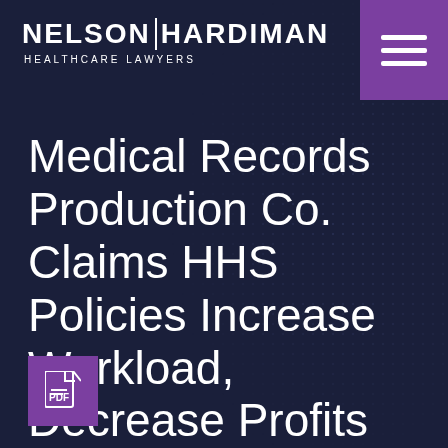[Figure (logo): Nelson Hardiman Healthcare Lawyers logo in white text on dark navy background]
[Figure (other): Purple hamburger menu button in top right corner with three white horizontal lines]
Medical Records Production Co. Claims HHS Policies Increase Workload, Decrease Profits
[Figure (other): Purple square PDF icon button in bottom left corner]